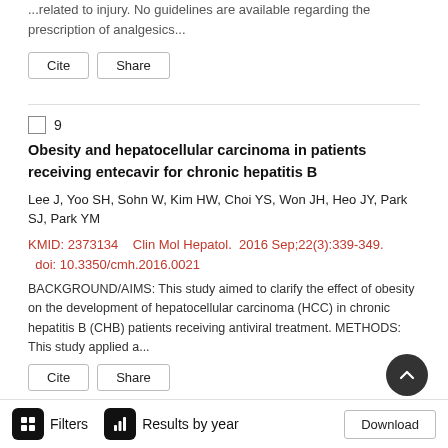...related to injury. No guidelines are available regarding the prescription of analgesics...
Cite
Share
9
Obesity and hepatocellular carcinoma in patients receiving entecavir for chronic hepatitis B
Lee J, Yoo SH, Sohn W, Kim HW, Choi YS, Won JH, Heo JY, Park SJ, Park YM
KMID: 2373134    Clin Mol Hepatol.  2016 Sep;22(3):339-349.  doi: 10.3350/cmh.2016.0021
BACKGROUND/AIMS: This study aimed to clarify the effect of obesity on the development of hepatocellular carcinoma (HCC) in chronic hepatitis B (CHB) patients receiving antiviral treatment. METHODS: This study applied a...
Cite
Share
Filters   Results by year   Download